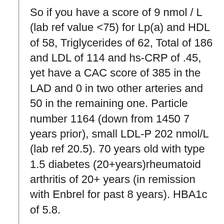So if you have a score of 9 nmol / L (lab ref value <75) for Lp(a) and HDL of 58, Triglycerides of 62, Total of 186 and LDL of 114 and hs-CRP of .45, yet have a CAC score of 385 in the LAD and 0 in two other arteries and 50 in the remaining one. Particle number 1164 (down from 1450 7 years prior), small LDL-P 202 nmol/L (lab ref 20.5). 70 years old with type 1.5 diabetes (20+years)rheumatoid arthritis of 20+ years (in remission with Enbrel for past 8 years). HBA1c of 5.8.
Eat 20% carbs, 25% protein, 55% fat. Walk 5 miles/day at 4mph pace – semi-hilly terrain. Heart rate gets up to 135 at top of a hill. No difficulti